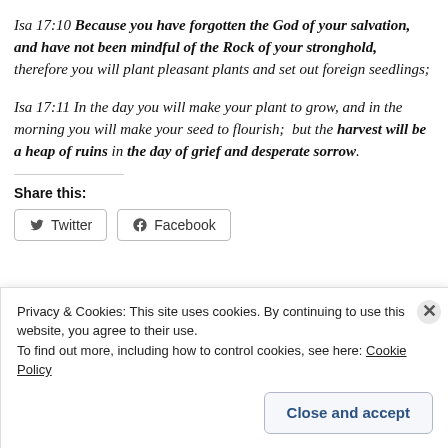Isa 17:10 Because you have forgotten the God of your salvation, and have not been mindful of the Rock of your stronghold, therefore you will plant pleasant plants and set out foreign seedlings;
Isa 17:11 In the day you will make your plant to grow, and in the morning you will make your seed to flourish; but the harvest will be a heap of ruins in the day of grief and desperate sorrow.
Share this:
[Figure (other): Twitter and Facebook share buttons]
Privacy & Cookies: This site uses cookies. By continuing to use this website, you agree to their use. To find out more, including how to control cookies, see here: Cookie Policy